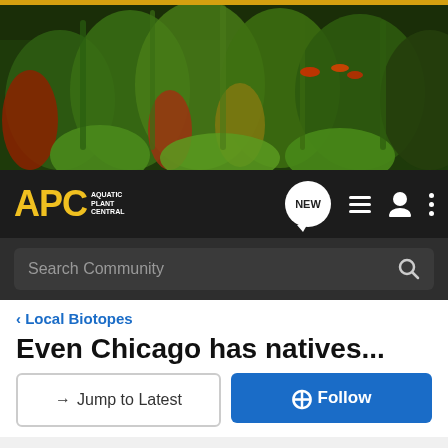[Figure (photo): Aquarium banner photo showing lush aquatic plants with green, red, and yellow foliage with small fish visible]
APC Aquatic Plant Central navigation bar with NEW chat button, list icon, user icon, menu icon, and Search Community search bar
< Local Biotopes
Even Chicago has natives...
→ Jump to Latest
+ Follow
1 - 4 of 4 Posts
tsunami · Registered
Joined Jan 24, 2004 · 1,715 Posts